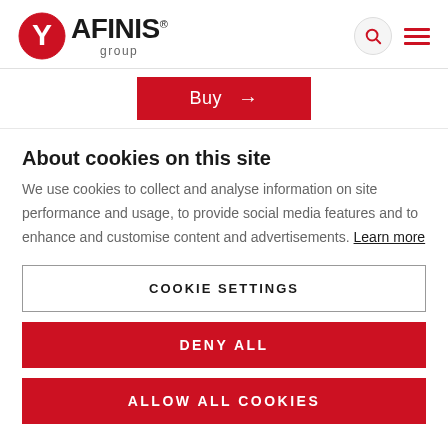AFINIS group
Buy →
About cookies on this site
We use cookies to collect and analyse information on site performance and usage, to provide social media features and to enhance and customise content and advertisements. Learn more
COOKIE SETTINGS
DENY ALL
ALLOW ALL COOKIES